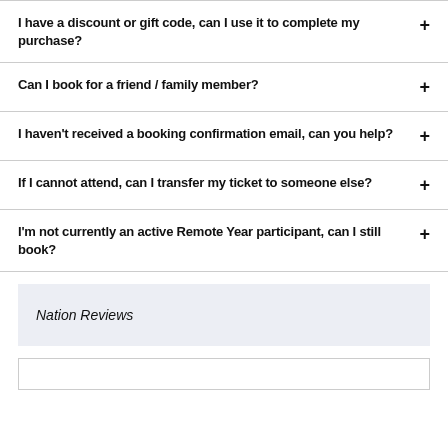I have a discount or gift code, can I use it to complete my purchase?
Can I book for a friend / family member?
I haven't received a booking confirmation email, can you help?
If I cannot attend, can I transfer my ticket to someone else?
I'm not currently an active Remote Year participant, can I still book?
Nation Reviews